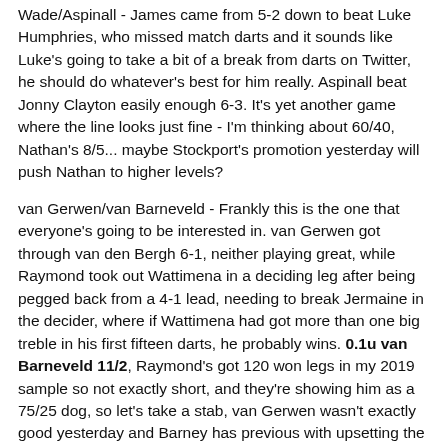Wade/Aspinall - James came from 5-2 down to beat Luke Humphries, who missed match darts and it sounds like Luke's going to take a bit of a break from darts on Twitter, he should do whatever's best for him really. Aspinall beat Jonny Clayton easily enough 6-3. It's yet another game where the line looks just fine - I'm thinking about 60/40, Nathan's 8/5... maybe Stockport's promotion yesterday will push Nathan to higher levels?
van Gerwen/van Barneveld - Frankly this is the one that everyone's going to be interested in. van Gerwen got through van den Bergh 6-1, neither playing great, while Raymond took out Wattimena in a deciding leg after being pegged back from a 4-1 lead, needing to break Jermaine in the decider, where if Wattimena had got more than one big treble in his first fifteen darts, he probably wins. 0.1u van Barneveld 11/2, Raymond's got 120 won legs in my 2019 sample so not exactly short, and they're showing him as a 75/25 dog, so let's take a stab, van Gerwen wasn't exactly good yesterday and Barney has previous with upsetting the world number one.